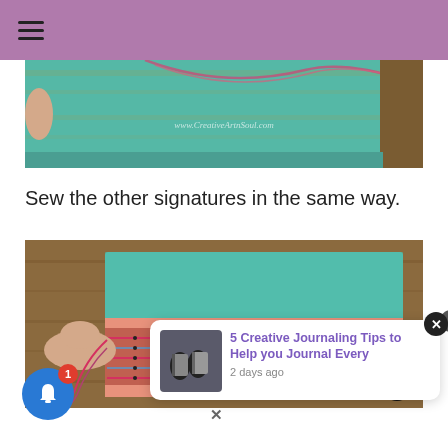≡ (hamburger menu)
[Figure (photo): Close-up of a teal/turquoise handmade book cover with pink thread on a wooden surface, watermark: www.CreativeArtnSoul.com]
Sew the other signatures in the same way.
[Figure (photo): Hand holding a handmade journal showing the spine with Coptic stitch binding in pink/red thread, teal cover on wooden surface]
[Figure (screenshot): Notification popup: '5 Creative Journaling Tips to Help you Journal Every' with small image of journal supplies and timestamp '2 days ago']